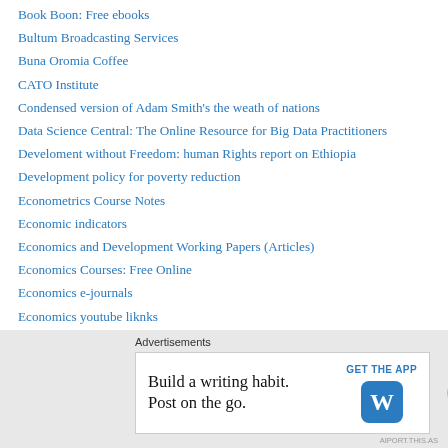Book Boon: Free ebooks
Bultum Broadcasting Services
Buna Oromia Coffee
CATO Institute
Condensed version of Adam Smith's the weath of nations
Data Science Central: The Online Resource for Big Data Practitioners
Develoment without Freedom: human Rights report on Ethiopia
Development policy for poverty reduction
Econometrics Course Notes
Economic indicators
Economics and Development Working Papers (Articles)
Economics Courses: Free Online
Economics e-journals
Economics youtube liknks
Economics: Definitions
Economics: the light and fruits debate
Advertisements
Build a writing habit. Post on the go.
GET THE APP